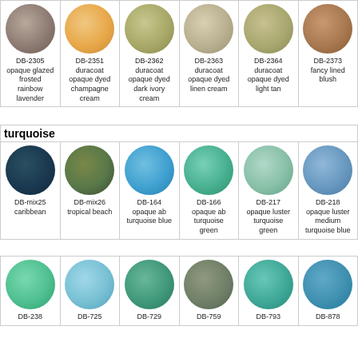| DB-2305 opaque glazed frosted rainbow lavender | DB-2351 duracoat opaque dyed champagne cream | DB-2362 duracoat opaque dyed dark ivory cream | DB-2363 duracoat opaque dyed linen cream | DB-2364 duracoat opaque dyed light tan | DB-2373 fancy lined blush |
| --- | --- | --- | --- | --- | --- |
| (bead image) | (bead image) | (bead image) | (bead image) | (bead image) | (bead image) |
turquoise
| DB-mix25 caribbean | DB-mix26 tropical beach | DB-164 opaque ab turquoise blue | DB-166 opaque ab turquoise green | DB-217 opaque luster turquoise green | DB-218 opaque luster medium turquoise blue |
| --- | --- | --- | --- | --- | --- |
| (bead image) | (bead image) | (bead image) | (bead image) | (bead image) | (bead image) |
| DB-238 | DB-725 | DB-729 | DB-759 | DB-793 | DB-878 |
| --- | --- | --- | --- | --- | --- |
| (bead image) | (bead image) | (bead image) | (bead image) | (bead image) | (bead image) |